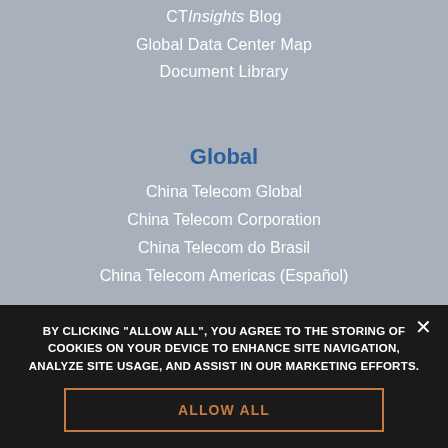CT Insights Blog
Global Data Center Map
Document Library
Global
China Telecom Global
China Telecom Corporation
China Telecom do Brasil
China Telecom Americas (Español)
Partners
BY CLICKING "ALLOW ALL", YOU AGREE TO THE STORING OF COOKIES ON YOUR DEVICE TO ENHANCE SITE NAVIGATION, ANALYZE SITE USAGE, AND ASSIST IN OUR MARKETING EFFORTS.
ALLOW ALL